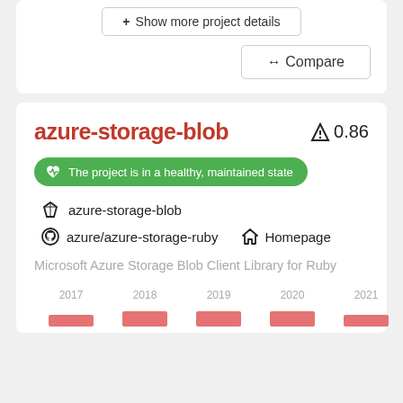[Figure (screenshot): Show more project details button and Compare button at top of page]
azure-storage-blob
🔬 0.86
The project is in a healthy, maintained state
◇ azure-storage-blob
⬤ azure/azure-storage-ruby   ⌂ Homepage
Microsoft Azure Storage Blob Client Library for Ruby
[Figure (bar-chart): Activity over time]